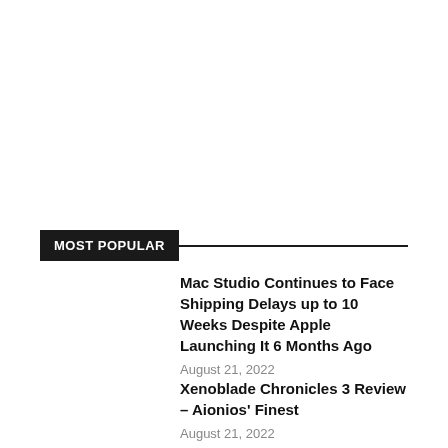MOST POPULAR
Mac Studio Continues to Face Shipping Delays up to 10 Weeks Despite Apple Launching It 6 Months Ago
August 21, 2022
Xenoblade Chronicles 3 Review – Aionios' Finest
August 21, 2022